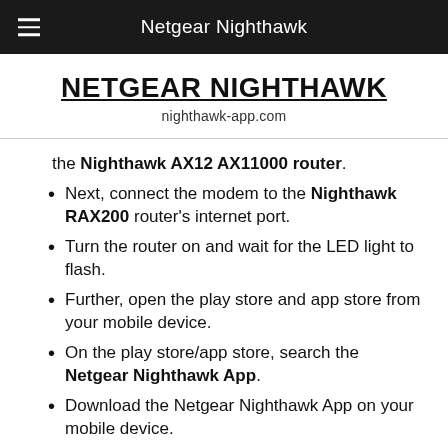Netgear Nighthawk
NETGEAR NIGHTHAWK
nighthawk-app.com
the Nighthawk AX12 AX11000 router.
Next, connect the modem to the Nighthawk RAX200 router's internet port.
Turn the router on and wait for the LED light to flash.
Further, open the play store and app store from your mobile device.
On the play store/app store, search the Netgear Nighthawk App.
Download the Netgear Nighthawk App on your mobile device.